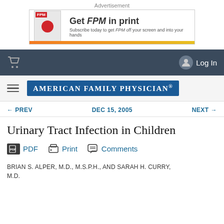Advertisement
[Figure (other): Advertisement banner: Get FPM in print – Subscribe today to get FPM off your screen and into your hands]
[Figure (screenshot): Navigation bar with shopping cart icon and Log In button on dark blue background]
[Figure (logo): American Family Physician journal logo in blue banner with hamburger menu icon]
← PREV    DEC 15, 2005    NEXT →
Urinary Tract Infection in Children
PDF  Print  Comments
BRIAN S. ALPER, M.D., M.S.P.H., AND SARAH H. CURRY, M.D.